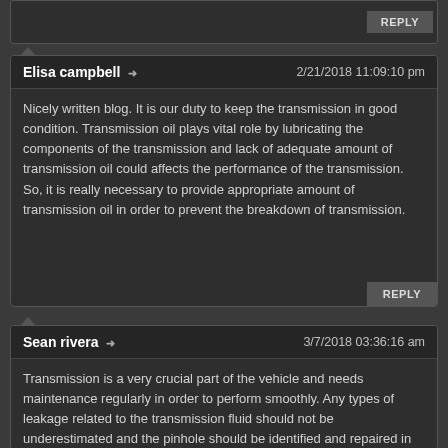REPLY
Elisa campbell → 2/21/2018 11:09:10 pm
Nicely written blog. It is our duty to keep the transmission in good condition. Transmission oil plays vital role by lubricating the components of the transmission and lack of adequate amount of transmission oil could affects the performance of the transmission. So, it is really necessary to provide appropriate amount of transmission oil in order to prevent the breakdown of transmission.
REPLY
Sean rivera → 3/7/2018 03:36:16 am
Transmission is a very crucial part of the vehicle and needs maintenance regularly in order to perform smoothly. Any types of leakage related to the transmission fluid should not be underestimated and the pinhole should be identified and repaired in order to prevent the damage of transmission due to the lack of transmission oil. Before leaving for a long road trip, the condition of transmission alongside other components of the vehicle should